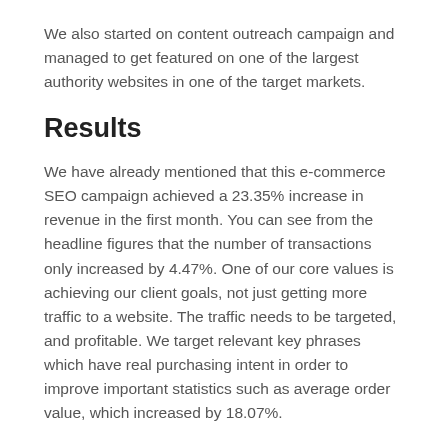We also started on content outreach campaign and managed to get featured on one of the largest authority websites in one of the target markets.
Results
We have already mentioned that this e-commerce SEO campaign achieved a 23.35% increase in revenue in the first month. You can see from the headline figures that the number of transactions only increased by 4.47%. One of our core values is achieving our client goals, not just getting more traffic to a website. The traffic needs to be targeted, and profitable. We target relevant key phrases which have real purchasing intent in order to improve important statistics such as average order value, which increased by 18.07%.
The return on investment from this seo campaign, even in the first months is considerable. The 23.35% extra revenue amounts to a £7,551.25 increase in sales